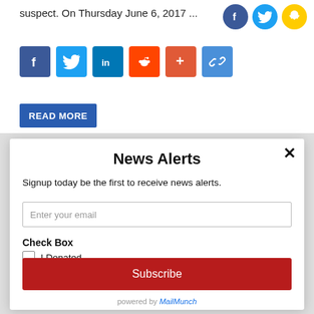suspect. On Thursday June 6, 2017 ...
[Figure (infographic): Social media share buttons row: Facebook (blue), Twitter (light blue), LinkedIn (dark blue), Reddit (orange), Plus (orange-red), Link (blue)]
[Figure (infographic): READ MORE button in blue]
News Alerts
Signup today be the first to receive news alerts.
Enter your email
Check Box
I Donated
Subscribe
powered by MailMunch